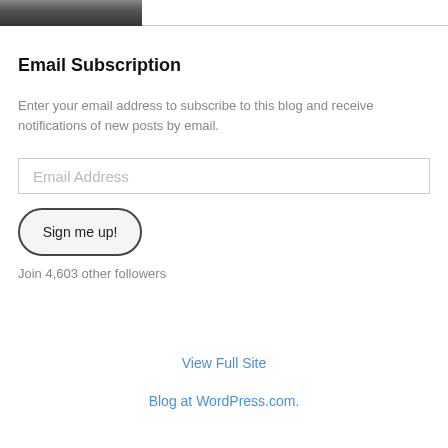[Figure (photo): Partial photo of a person at top-left corner]
Email Subscription
Enter your email address to subscribe to this blog and receive notifications of new posts by email.
Email Address
Sign me up!
Join 4,603 other followers
View Full Site
Blog at WordPress.com.